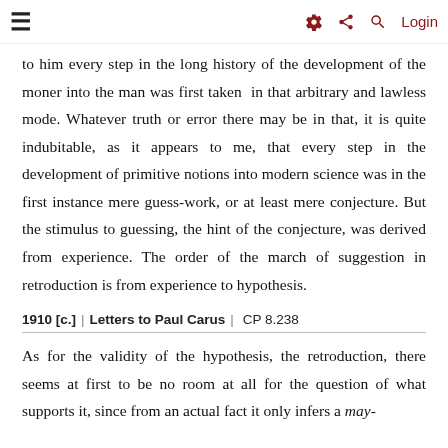≡   ⚙ < Q  Login
to him every step in the long history of the development of the moner into the man was first taken in that arbitrary and lawless mode. Whatever truth or error there may be in that, it is quite indubitable, as it appears to me, that every step in the development of primitive notions into modern science was in the first instance mere guess-work, or at least mere conjecture. But the stimulus to guessing, the hint of the conjecture, was derived from experience. The order of the march of suggestion in retroduction is from experience to hypothesis.
1910 [c.] | Letters to Paul Carus | CP 8.238
As for the validity of the hypothesis, the retroduction, there seems at first to be no room at all for the question of what supports it, since from an actual fact it only infers a may-